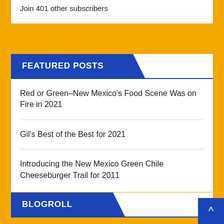Join 401 other subscribers
FEATURED POSTS
Red or Green–New Mexico's Food Scene Was on Fire in 2021
Gil's Best of the Best for 2021
Introducing the New Mexico Green Chile Cheeseburger Trail for 2011
BLOGROLL